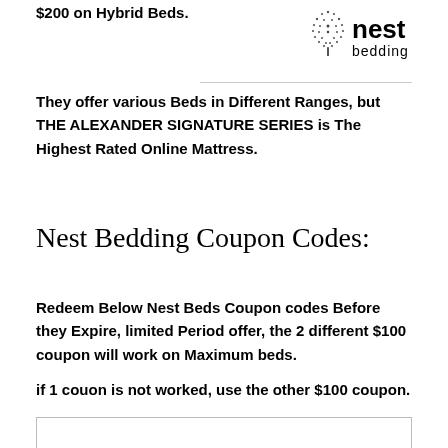$200 on Hybrid Beds.
[Figure (logo): Nest Bedding logo with stylized tree/leaf graphic and text 'nest bedding']
They offer various Beds in Different Ranges, but THE ALEXANDER SIGNATURE SERIES is The Highest Rated Online Mattress.
Nest Bedding Coupon Codes:
Redeem Below Nest Beds Coupon codes Before they Expire, limited Period offer, the 2 different $100 coupon will work on Maximum beds.
if 1 couon is not worked, use the other $100 coupon.